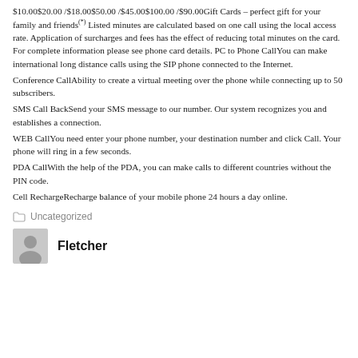$10.00$20.00 /$18.00$50.00 /$45.00$100.00 /$90.00Gift Cards – perfect gift for your family and friends(*) Listed minutes are calculated based on one call using the local access rate. Application of surcharges and fees has the effect of reducing total minutes on the card. For complete information please see phone card details. PC to Phone CallYou can make international long distance calls using the SIP phone connected to the Internet.
Conference CallAbility to create a virtual meeting over the phone while connecting up to 50 subscribers.
SMS Call BackSend your SMS message to our number. Our system recognizes you and establishes a connection.
WEB CallYou need enter your phone number, your destination number and click Call. Your phone will ring in a few seconds.
PDA CallWith the help of the PDA, you can make calls to different countries without the PIN code.
Cell RechargeRecharge balance of your mobile phone 24 hours a day online.
Uncategorized
Fletcher